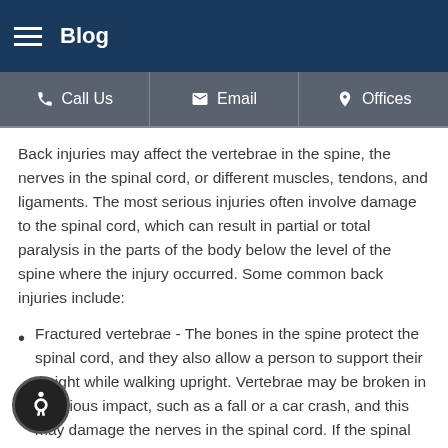Blog
Call Us  Email  Offices
Back injuries may affect the vertebrae in the spine, the nerves in the spinal cord, or different muscles, tendons, and ligaments. The most serious injuries often involve damage to the spinal cord, which can result in partial or total paralysis in the parts of the body below the level of the spine where the injury occurred. Some common back injuries include:
Fractured vertebrae - The bones in the spine protect the spinal cord, and they also allow a person to support their weight while walking upright. Vertebrae may be broken in a serious impact, such as a fall or a car crash, and this may damage the nerves in the spinal cord. If the spinal cord is severed, a person may suffer complete paralysis, including paraplegia or quadriplegia